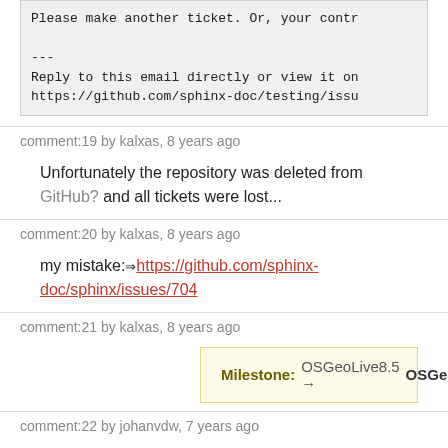Please make another ticket. Or, your contr

---
Reply to this email directly or view it on
https://github.com/sphinx-doc/testing/issu
comment:19 by kalxas, 8 years ago
Unfortunately the repository was deleted from GitHub? and all tickets were lost...
comment:20 by kalxas, 8 years ago
my mistake:⇒https://github.com/sphinx-doc/sphinx/issues/704
comment:21 by kalxas, 8 years ago
Milestone: OSGeoLive8.5 → OSGeoLive9.0
comment:22 by johanvdw, 7 years ago
The correct issue for sphinx is: ⇒https://github.com/sphinx-